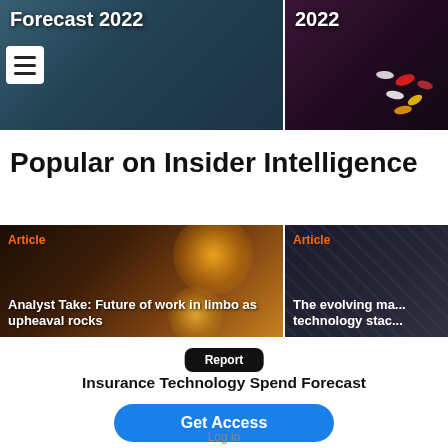[Figure (screenshot): Top banner image left: dark blue/teal background with text 'Forecast 2022' and hamburger menu icon]
[Figure (screenshot): Top banner image right: dark purple background with pills/medicine and text '2022']
Popular on Insider Intelligence
[Figure (photo): Article card left: dark bokeh background with orange label 'Article' and headline 'Analyst Take: Future of work in limbo as upheaval rocks']
[Figure (photo): Article card right: dark diagonal pattern background with orange label 'Article' and headline 'The evolving ma... technology stac...']
Report
Insurance Technology Spend Forecast
Get Access
Log in